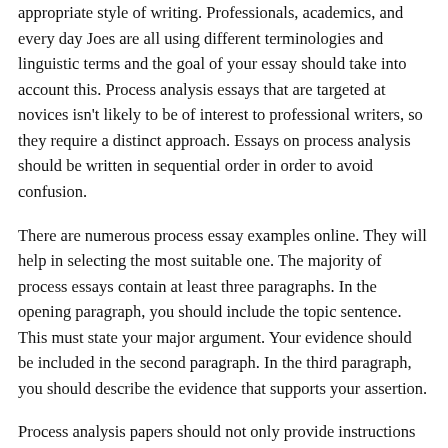appropriate style of writing. Professionals, academics, and every day Joes are all using different terminologies and linguistic terms and the goal of your essay should take into account this. Process analysis essays that are targeted at novices isn't likely to be of interest to professional writers, so they require a distinct approach. Essays on process analysis should be written in sequential order in order to avoid confusion.
There are numerous process essay examples online. They will help in selecting the most suitable one. The majority of process essays contain at least three paragraphs. In the opening paragraph, you should include the topic sentence. This must state your major argument. Your evidence should be included in the second paragraph. In the third paragraph, you should describe the evidence that supports your assertion.
Process analysis papers should not only provide instructions in chronological order, but they should also give readers information on any possible dangers. The most effective way to do this is by using an active voice so readers are able to easily